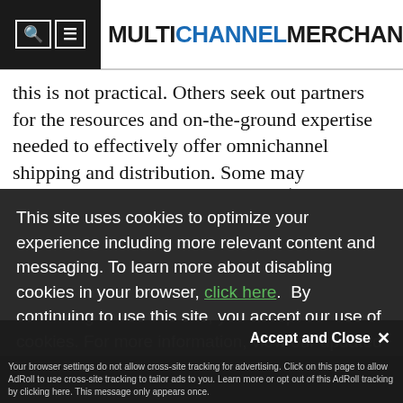MULTICHANNEL MERCHANT
this is not practical. Others seek out partners for the resources and on-the-ground expertise needed to effectively offer omnichannel shipping and distribution. Some may … in … o keep … to … ategy … ofits … ven
This site uses cookies to optimize your experience including more relevant content and messaging. To learn more about disabling cookies in your browser, click here. By continuing to use this site, you accept our use of cookies. For more information, view our updated Privacy Policy.
I Consent
Accept and Close ✕
Your browser settings do not allow cross-site tracking for advertising. Click on this page to allow AdRoll to use cross-site tracking to tailor ads to you. Learn more or opt out of this AdRoll tracking by clicking here. This message only appears once.